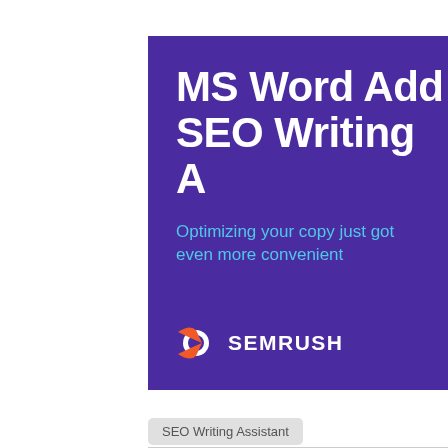[Figure (illustration): Purple banner for Semrush MS Word Add-on SEO Writing Assistant product, with large white bold title text partially visible, cyan subtitle text, and Semrush logo with orange rocket icon at bottom]
SEO Writing Assistant